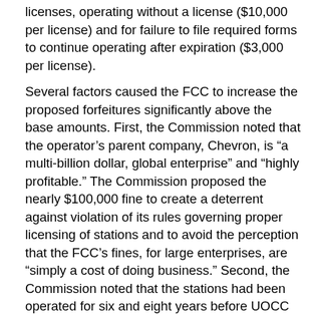licenses, operating without a license ($10,000 per license) and for failure to file required forms to continue operating after expiration ($3,000 per license).
Several factors caused the FCC to increase the proposed forfeitures significantly above the base amounts. First, the Commission noted that the operator’s parent company, Chevron, is “a multi-billion dollar, global enterprise” and “highly profitable.” The Commission proposed the nearly $100,000 fine to create a deterrent against violation of its rules governing proper licensing of stations and to avoid the perception that the FCC’s fines, for large enterprises, are “simply a cost of doing business.” Second, the Commission noted that the stations had been operated for six and eight years before UOCC obtained an STA in November 2011, putting an end to the unauthorized operation. (The Wireless Bureau referred the matter to enforcement after UOCC sought the temporary